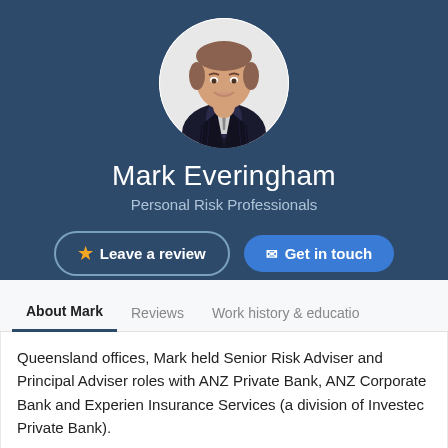[Figure (photo): Circular profile photo of Mark Everingham, a man in a dark pinstripe suit with white shirt, smiling, on white background]
Mark Everingham
Personal Risk Professionals
Leave a review
Get in touch
About Mark
Reviews
Work history & education
Queensland offices, Mark held Senior Risk Adviser and Principal Adviser roles with ANZ Private Bank, ANZ Corporate Bank and Experien Insurance Services (a division of Investec Private Bank).